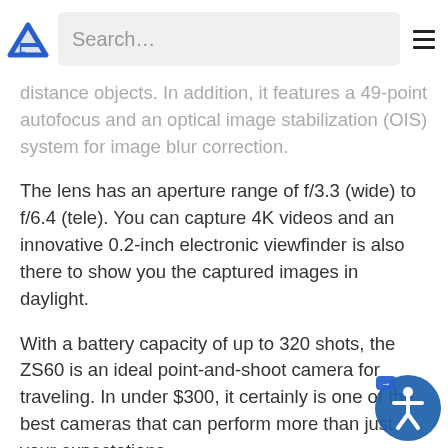Search…
distance objects. In addition, it features a 49-point autofocus and an optical image stabilization (OIS) system for image blur correction.
The lens has an aperture range of f/3.3 (wide) to f/6.4 (tele). You can capture 4K videos and an innovative 0.2-inch electronic viewfinder is also there to show you the captured images in daylight.
With a battery capacity of up to 320 shots, the ZS60 is an ideal point-and-shoot camera for traveling. In under $300, it certainly is one of the best cameras that can perform more than just your expectations.
Read our in-depth review of the Panasonic LUMIX DMC-ZS60 to get more details.